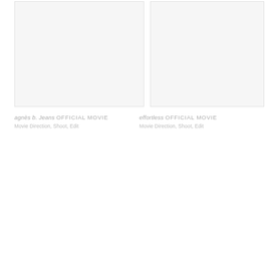[Figure (logo): Wavy tilde-like logo lines in top right corner]
[Figure (photo): Left image placeholder: light grey rectangle representing agnes b. Jeans official movie image]
agnès b. Jeans OFFICIAL MOVIE
Movie Direction, Shoot, Edit
[Figure (photo): Right image placeholder: light grey rectangle representing effortless official movie image]
effortless OFFICIAL MOVIE
Movie Direction, Shoot, Edit